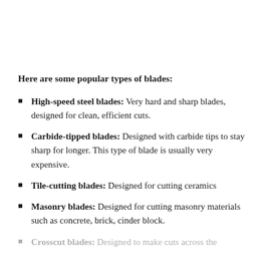Here are some popular types of blades:
High-speed steel blades: Very hard and sharp blades, designed for clean, efficient cuts.
Carbide-tipped blades: Designed with carbide tips to stay sharp for longer. This type of blade is usually very expensive.
Tile-cutting blades: Designed for cutting ceramics
Masonry blades: Designed for cutting masonry materials such as concrete, brick, cinder block.
Crosscut blades: Designed to make cuts across the wood grain